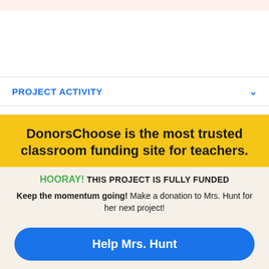PROJECT ACTIVITY
[Figure (screenshot): Yellow banner with text: DonorsChoose is the most trusted classroom funding site for teachers.]
HOORAY! THIS PROJECT IS FULLY FUNDED
Keep the momentum going! Make a donation to Mrs. Hunt for her next project!
Help Mrs. Hunt